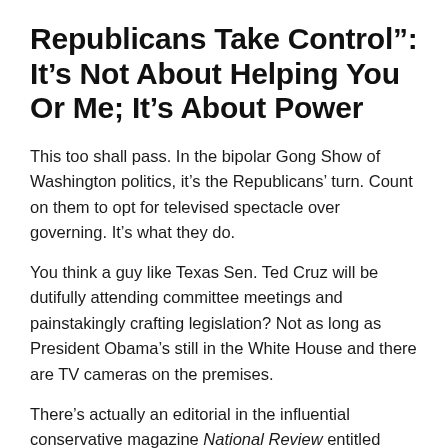Republicans Take Control": It’s Not About Helping You Or Me; It’s About Power
This too shall pass. In the bipolar Gong Show of Washington politics, it’s the Republicans’ turn. Count on them to opt for televised spectacle over governing. It’s what they do.
You think a guy like Texas Sen. Ted Cruz will be dutifully attending committee meetings and painstakingly crafting legislation? Not as long as President Obama’s still in the White House and there are TV cameras on the premises.
There’s actually an editorial in the influential conservative magazine National Review entitled “The Governing Trap.”